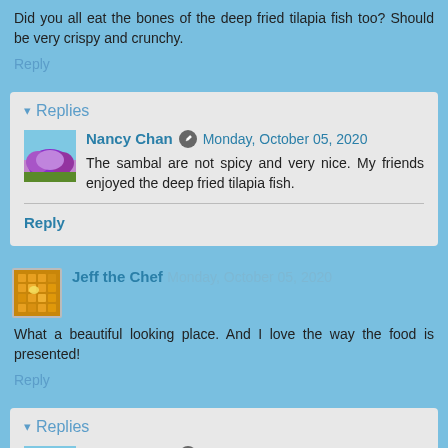Did you all eat the bones of the deep fried tilapia fish too? Should be very crispy and crunchy.
Reply
Replies
Nancy Chan  Monday, October 05, 2020
The sambal are not spicy and very nice. My friends enjoyed the deep fried tilapia fish.
Reply
Jeff the Chef  Monday, October 05, 2020
What a beautiful looking place. And I love the way the food is presented!
Reply
Replies
Nancy Chan  Monday, October 05, 2020